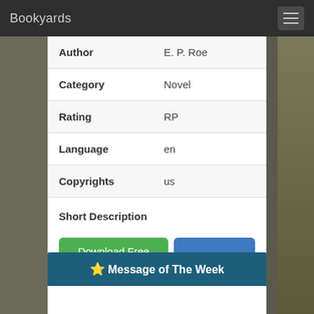Bookyards
| Field | Value |
| --- | --- |
| Author | E. P. Roe |
| Category | Novel |
| Rating | RP |
| Language | en |
| Copyrights | us |
Short Description
Download Free PDF | E. P. Roe | Novel | Convert to Kobo
⭐ Message of The Week